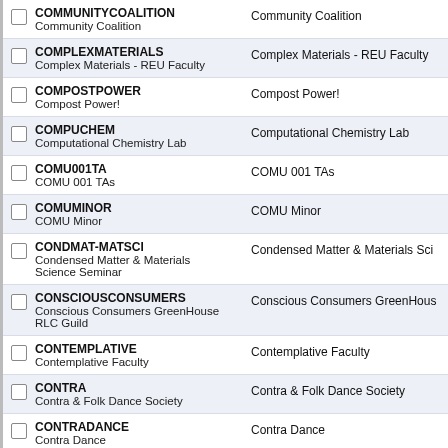COMMUNITYCOALITION
Community Coalition | Community Coalition
COMPLEXMATERIALS
Complex Materials - REU Faculty | Complex Materials - REU Faculty
COMPOSTPOWER
Compost Power! | Compost Power!
COMPUCHEM
Computational Chemistry Lab | Computational Chemistry Lab
COMU001TA
COMU 001 TAs | COMU 001 TAs
COMUMINOR
COMU Minor | COMU Minor
CONDMAT-MATSCI
Condensed Matter & Materials Science Seminar | Condensed Matter & Materials Sci
CONSCIOUSCONSUMERS
Conscious Consumers GreenHouse RLC Guild | Conscious Consumers GreenHous
CONTEMPLATIVE
Contemplative Faculty | Contemplative Faculty
CONTRA
Contra & Folk Dance Society | Contra & Folk Dance Society
CONTRADANCE
Contra Dance | Contra Dance